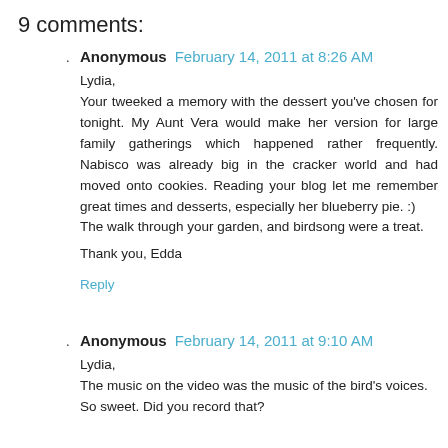9 comments:
Anonymous February 14, 2011 at 8:26 AM

Lydia,
Your tweeked a memory with the dessert you've chosen for tonight. My Aunt Vera would make her version for large family gatherings which happened rather frequently. Nabisco was already big in the cracker world and had moved onto cookies. Reading your blog let me remember great times and desserts, especially her blueberry pie. :)
The walk through your garden, and birdsong were a treat.

Thank you, Edda

Reply
Anonymous February 14, 2011 at 9:10 AM

Lydia,
The music on the video was the music of the bird's voices.
So sweet. Did you record that?